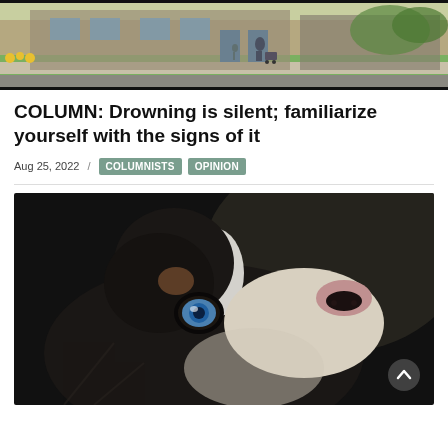[Figure (photo): Outdoor street scene showing people walking on a sidewalk in front of a building. A woman pushes a stroller and a child runs ahead on a sunny day with yellow flowers visible near the building.]
COLUMN: Drowning is silent; familiarize yourself with the signs of it
Aug 25, 2022 / COLUMNISTS OPINION
[Figure (photo): Close-up portrait of a dog (appears to be a husky or border collie mix) with striking blue eyes looking upward. The dog has black, white, and brown fur with a distinctive facial pattern. Dark background.]